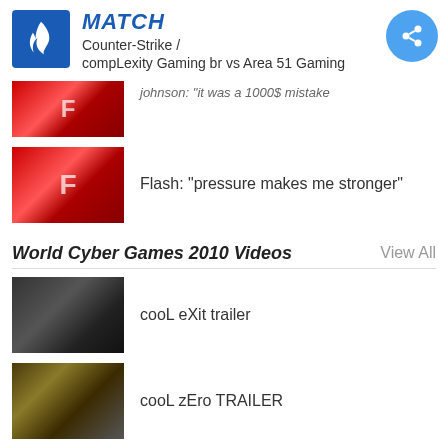MATCH Counter-Strike / compLexity Gaming br vs Area 51 Gaming
[Figure (screenshot): Partial video thumbnail - johnson: it was a 1000$ mistake]
johnson: "it was a 1000$ mistake"
[Figure (screenshot): Video thumbnail with red F logo]
Flash: "pressure makes me stronger"
World Cyber Games 2010 Videos
View All
[Figure (screenshot): Dark game scene thumbnail - cooL eXit trailer]
cooL eXit trailer
[Figure (screenshot): Yellowish-green game scene thumbnail - cooL zEro TRAILER]
cooL zEro TRAILER
[Figure (screenshot): Dark green game scene thumbnail - alwen vs WorldsBestPlayers]
alwen vs WorldsBestPlayers
[Figure (screenshot): Dark game scene thumbnail - ave vs NaVi wcg 2010]
ave vs Na`Vi wcg 2010